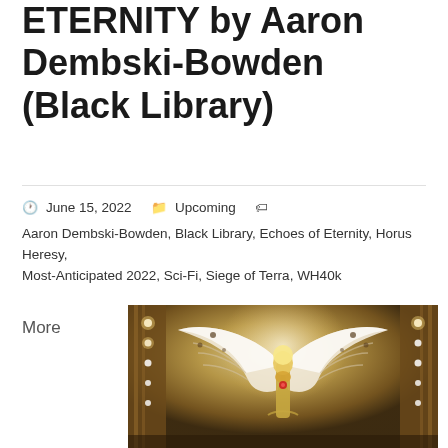ETERNITY by Aaron Dembski-Bowden (Black Library)
June 15, 2022   Upcoming   Aaron Dembski-Bowden, Black Library, Echoes of Eternity, Horus Heresy, Most-Anticipated 2022, Sci-Fi, Siege of Terra, WH40k
More
[Figure (illustration): Book cover for Echoes of Eternity showing an angelic warrior with large white wings spread wide, glowing with light, set against a golden ornate architectural background with lights and pillars.]